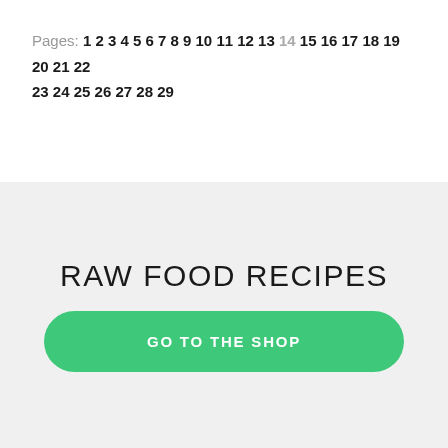Pages: 1 2 3 4 5 6 7 8 9 10 11 12 13 14 15 16 17 18 19 20 21 22 23 24 25 26 27 28 29
RAW FOOD RECIPES
GO TO THE SHOP